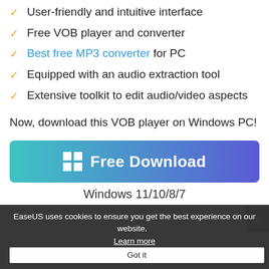User-friendly and intuitive interface
Free VOB player and converter
Best free MP3 converter for PC
Equipped with an audio extraction tool
Extensive toolkit to edit audio/video aspects
Now, download this VOB player on Windows PC!
[Figure (other): Free Download button with Windows logo icon, gradient teal to purple background]
Windows 11/10/8/7
EaseUS uses cookies to ensure you get the best experience on our website.   Learn more   Got it